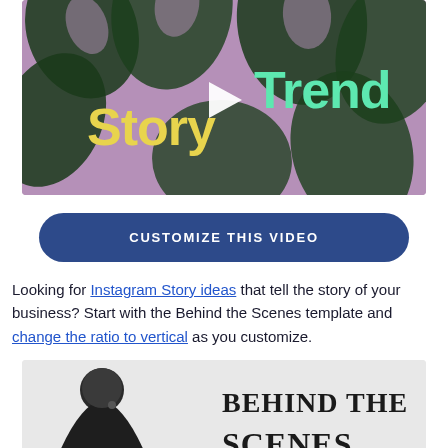[Figure (screenshot): Video thumbnail showing 'StoryTrend' branding with tropical monstera leaf background in purple/dark green tones, with a white play button triangle in the center. 'Story' text in yellow, 'Trend' text in mint green.]
CUSTOMIZE THIS VIDEO
Looking for Instagram Story ideas that tell the story of your business? Start with the Behind the Scenes template and change the ratio to vertical as you customize.
[Figure (screenshot): Partial thumbnail preview of a 'Behind the Scenes' video template showing a woman on left side with text 'BEHIND THE SCENES' in bold serif font on the right side over a light gray background.]